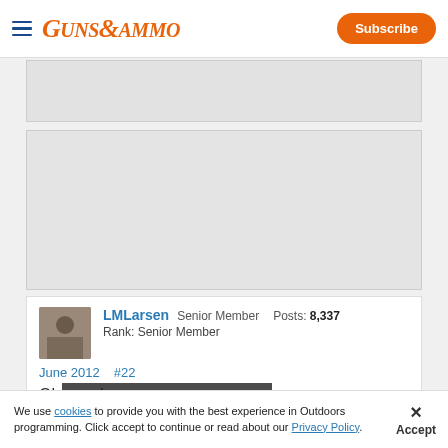GUNS&AMMO
[Figure (screenshot): Gray advertisement placeholder box at top]
[Figure (screenshot): Gray content/advertisement placeholder box]
LMLarsen  Senior Member  Posts: 8,337
Rank: Senior Member
June 2012  #22
Oh snap!
Advertisement
We use cookies to provide you with the best experience in Outdoors programming. Click accept to continue or read about our Privacy Policy.